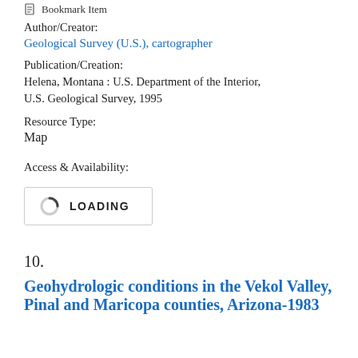Bookmark Item
Author/Creator:
Geological Survey (U.S.), cartographer
Publication/Creation:
Helena, Montana : U.S. Department of the Interior, U.S. Geological Survey, 1995
Resource Type:
Map
Access & Availability:
[Figure (screenshot): Loading indicator box with spinner icon and LOADING text]
10.  Geohydrologic conditions in the Vekol Valley, Pinal and Maricopa counties, Arizona-1983